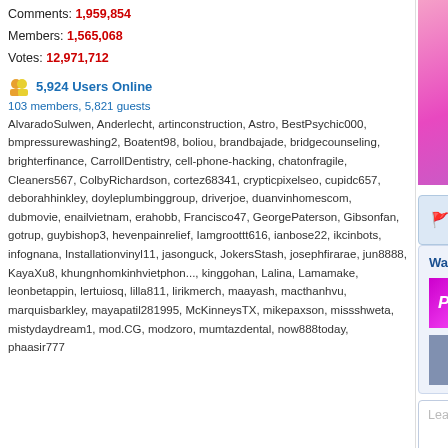Comments: 1,959,854
Members: 1,565,068
Votes: 12,971,712
5,924 Users Online
103 members, 5,821 guests
AlvaradoSulwen, Anderlecht, artinconstruction, Astro, BestPsychic000, bmpressurewashing2, Boatent98, boliou, brandbajade, bridgecounseling, brighterfinance, CarrollDentistry, cell-phone-hacking, chatonfragile, Cleaners567, ColbyRichardson, cortez68341, crypticpixelseo, cupidc657, deborahhinkley, doyleplumbinggroup, driverjoe, duanvinhomescom, dubmovie, enailvietnam, erahobb, Francisco47, GeorgePaterson, Gibsonfan, gotrup, guybishop3, hevenpainrelief, Iamgroottt616, ianbose22, ikcinbots, infognana, Installationvinyl11, jasonguck, JokersStash, josephfirarae, jun8888, KayaXu8, khungnhomkinhvietphon..., kinggohan, Lalina, Lamamake, leonbetappin, lertuiosq, lilla811, lirikmerch, maayash, macthanhvu, marquisbarkley, mayapatil281995, McKinneysTX, mikepaxson, missshweta, mistydaydream1, mod.CG, modzoro, mumtazdental, now888today, phaasir777
[Figure (photo): Pink flowers wallpaper - blurred photo of pink blossoms]
Report This Wallpaper
Add To F...
Wallpaper Groups
[Figure (photo): Pink wallpaper group thumbnail - magenta background with Pink! text]
Pink
38,513 images  323 members  2 comments
[Figure (photo): Little girl wallpaper group thumbnail]
Little girl
8,043 images  150 members  13 comments
Leave a comment...
Wallpaper Comments (2)
[Figure (photo): User avatar for UniversalExplorer - cartoon girl with red dress]
Posted by UniversalExplorer on 10/24/...
Cute tiara. Thanks for adding to the i...